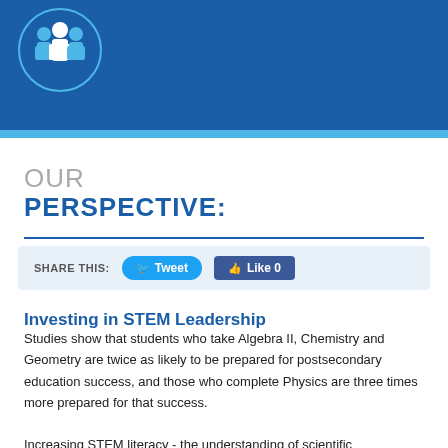[Figure (logo): Blue banner header with circular logo showing silhouette figures (people) in light blue on dark blue background]
OUR PERSPECTIVE:
SHARE THIS: Tweet  Like 0
Investing in STEM Leadership
Studies show that students who take Algebra II, Chemistry and Geometry are twice as likely to be prepared for postsecondary education success, and those who complete Physics are three times more prepared for that success.
Increasing STEM literacy - the understanding of scientific